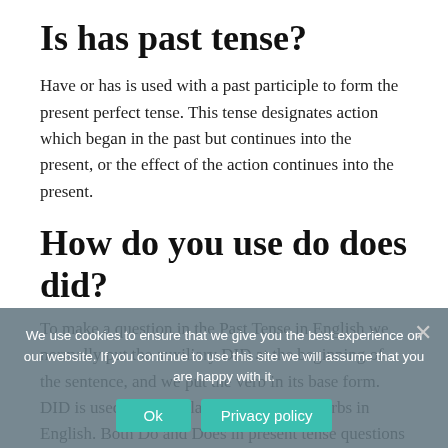Is has past tense?
Have or has is used with a past participle to form the present perfect tense. This tense designates action which began in the past but continues into the present, or the effect of the action continues into the present.
How do you use do does did?
To make a question in the Past Tense in English we normally put the auxiliary DID at the beginning of...used with regular AND irregular verbs in English. Both Do and Does in present tense questions become Did in past tense questions.
We use cookies to ensure that we give you the best experience on our website. If you continue to use this site we will assume that you are happy with it.